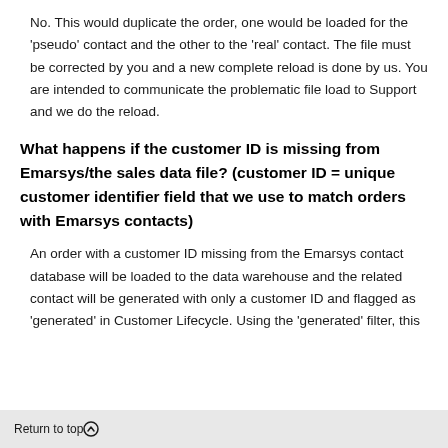No. This would duplicate the order, one would be loaded for the 'pseudo' contact and the other to the 'real' contact. The file must be corrected by you and a new complete reload is done by us. You are intended to communicate the problematic file load to Support and we do the reload.
What happens if the customer ID is missing from Emarsys/the sales data file? (customer ID = unique customer identifier field that we use to match orders with Emarsys contacts)
An order with a customer ID missing from the Emarsys contact database will be loaded to the data warehouse and the related contact will be generated with only a customer ID and flagged as 'generated' in Customer Lifecycle. Using the 'generated' filter, this
Return to top ↑